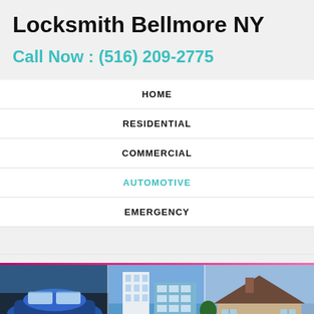Locksmith Bellmore NY
Call Now : (516) 209-2775
HOME
RESIDENTIAL
COMMERCIAL
AUTOMOTIVE
EMERGENCY
[Figure (photo): Three-panel image strip showing: a blue car, a modern commercial building with glass facade, and a stone residential house.]